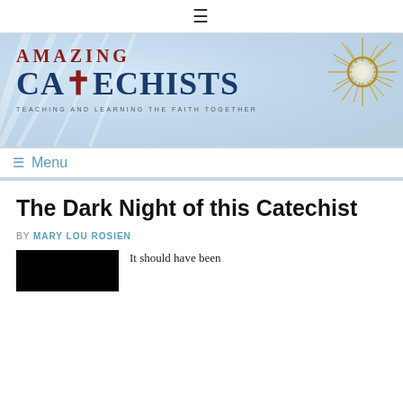≡
[Figure (logo): Amazing Catechists banner logo with monstrance, rays of light background. Text: AMAZING CATECHISTS - TEACHING AND LEARNING THE FAITH TOGETHER]
≡ Menu
The Dark Night of this Catechist
BY MARY LOU ROSIEN
[Figure (photo): Black rectangular image, partially visible at bottom of page]
It should have been